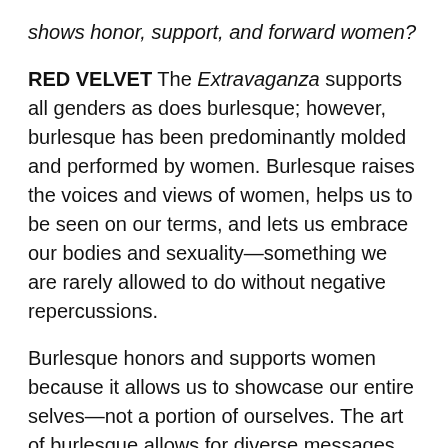shows honor, support, and forward women?
RED VELVET The Extravaganza supports all genders as does burlesque; however, burlesque has been predominantly molded and performed by women. Burlesque raises the voices and views of women, helps us to be seen on our terms, and lets us embrace our bodies and sexuality—something we are rarely allowed to do without negative repercussions.
Burlesque honors and supports women because it allows us to showcase our entire selves—not a portion of ourselves. The art of burlesque allows for diverse messages, stories, and acts to be portrayed on the stage and provides a mechanism for often serious messages to be heard because